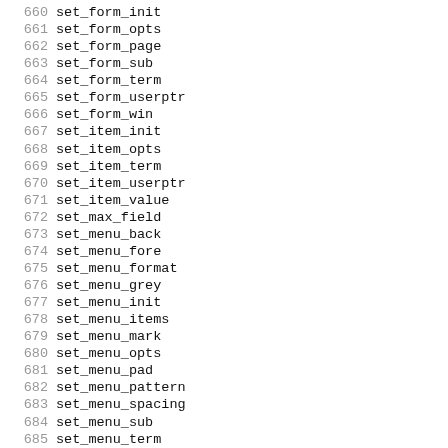660 set_form_init
661 set_form_opts
662 set_form_page
663 set_form_sub
664 set_form_term
665 set_form_userptr
666 set_form_win
667 set_item_init
668 set_item_opts
669 set_item_term
670 set_item_userptr
671 set_item_value
672 set_max_field
673 set_menu_back
674 set_menu_fore
675 set_menu_format
676 set_menu_grey
677 set_menu_init
678 set_menu_items
679 set_menu_mark
680 set_menu_opts
681 set_menu_pad
682 set_menu_pattern
683 set_menu_spacing
684 set_menu_sub
685 set_menu_term
686 set_menu_userptr
687 set_menu_win
688 set_new_page
689 set_panel_userptr
690 set_tabsize
691 set_tabsize_sp